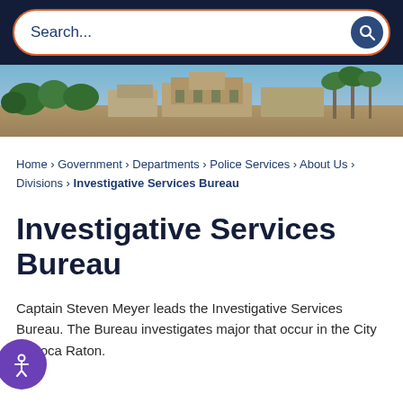Search...
[Figure (photo): Aerial or elevated panoramic view of a city area in Boca Raton, Florida, showing palm trees, buildings, and a town square or plaza area under a clear sky.]
Home › Government › Departments › Police Services › About Us › Divisions › Investigative Services Bureau
Investigative Services Bureau
Captain Steven Meyer leads the Investigative Services Bureau. The Bureau investigates major that occur in the City of Boca Raton.
The Investigative Services Bureau also works